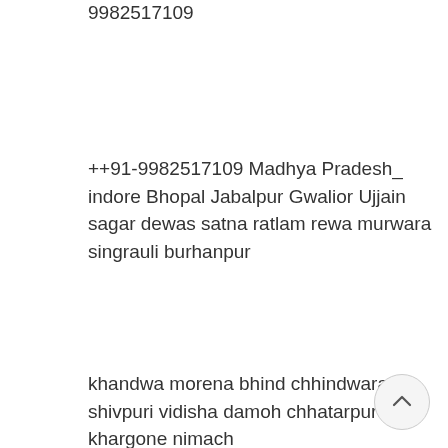9982517109
++91-9982517109 Madhya Pradesh_ indore Bhopal Jabalpur Gwalior Ujjain sagar dewas satna ratlam rewa murwara singrauli burhanpur
khandwa morena bhind chhindwara gu shivpuri vidisha damoh chhatarpur ma khargone nimach